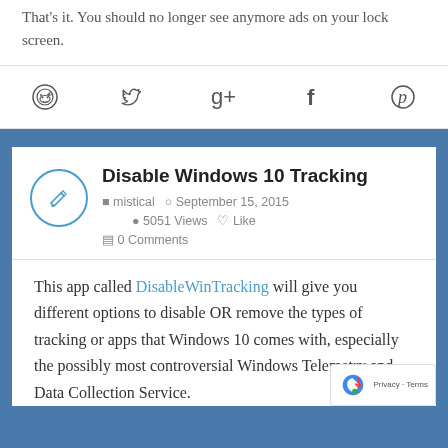That's it. You should no longer see anymore ads on your lock screen.
[Figure (infographic): Social share icons row: Reddit, Twitter, Google+, Facebook, Pinterest]
Disable Windows 10 Tracking
mistical   September 15, 2015   5051 Views   Like   0 Comments
This app called DisableWinTracking will give you different options to disable OR remove the types of tracking or apps that Windows 10 comes with, especially the possibly most controversial Windows Telemetry and Data Collection Service.